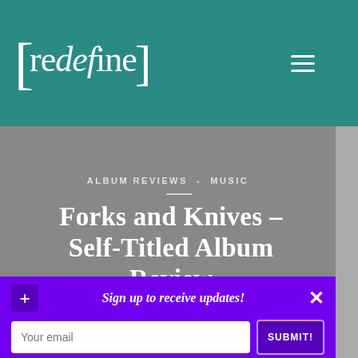[redefine]
ALBUM REVIEWS - MUSIC
Forks and Knives – Self-Titled Album Review
Vee Hua 華話 - 3 min read - August 25, 2009 - 3 comments
Sign up to receive updates!
Your email  SUBMIT!